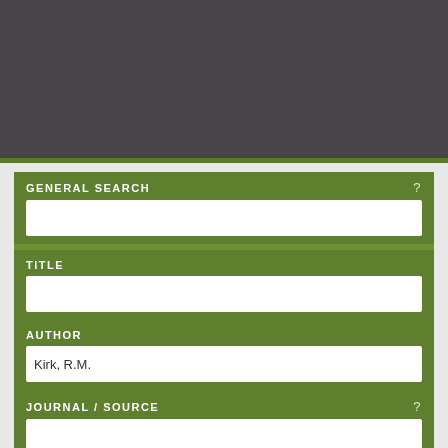[Figure (screenshot): Dark gray header area at the top of a web page search interface]
GENERAL SEARCH
TITLE
AUTHOR
Kirk, R.M.
JOURNAL / SOURCE
FROM YEAR
TO YEAR